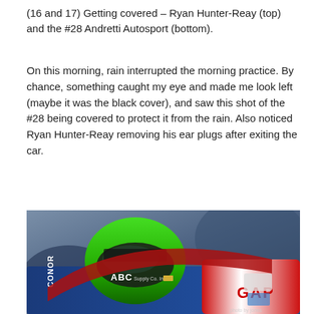(16 and 17) Getting covered – Ryan Hunter-Reay (top) and the #28 Andretti Autosport (bottom).
On this morning, rain interrupted the morning practice. By chance, something caught my eye and made me look left (maybe it was the black cover), and saw this shot of the #28 being covered to protect it from the rain. Also noticed Ryan Hunter-Reay removing his ear plugs after exiting the car.
[Figure (photo): Close-up photo of an IndyCar racing driver wearing a green and black helmet with ABC Supply Co. Inc. branding and Chevrolet logo, sitting in a blue race car with red accents showing GAP sponsorship. The car has 'CONOR' and 'OR DALY' text visible.]